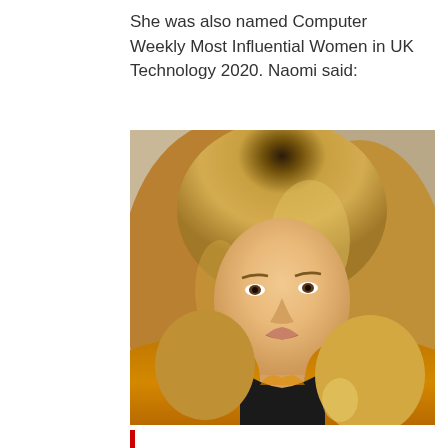She was also named Computer Weekly Most Influential Women in UK Technology 2020. Naomi said:
[Figure (photo): Portrait photo of a blonde woman wearing a yellow/mustard jacket and black top, looking slightly to the side against a neutral background.]